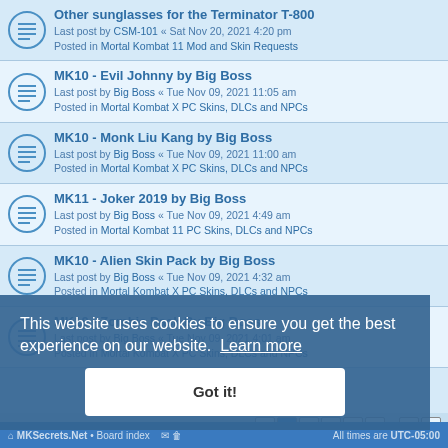Other sunglasses for the Terminator T-800
Last post by CSM-101 « Sat Nov 20, 2021 4:20 pm
Posted in Mortal Kombat 11 Mod and Skin Requests
MK10 - Evil Johnny by Big Boss
Last post by Big Boss « Tue Nov 09, 2021 11:05 am
Posted in Mortal Kombat X PC Skins, DLCs and NPCs
MK10 - Monk Liu Kang by Big Boss
Last post by Big Boss « Tue Nov 09, 2021 11:00 am
Posted in Mortal Kombat X PC Skins, DLCs and NPCs
MK11 - Joker 2019 by Big Boss
Last post by Big Boss « Tue Nov 09, 2021 4:49 am
Posted in Mortal Kombat 11 PC Skins, DLCs and NPCs
MK10 - Alien Skin Pack by Big Boss
Last post by Big Boss « Tue Nov 09, 2021 4:32 am
Posted in Mortal Kombat X PC Skins, DLCs and NPCs
MK10 - Zombie Pack By Big Boss
Last post by Big Boss « Tue Nov 09, 2021 4:01 am
Posted in Mortal Kombat X PC Skins, DLCs and NPCs
This website uses cookies to ensure you get the best experience on our website. Learn more
Got it!
Search found more than 1000 matches   1 2 3 4 5 ... 20 >
MKSecrets.Net • Board index   All times are UTC-05:00